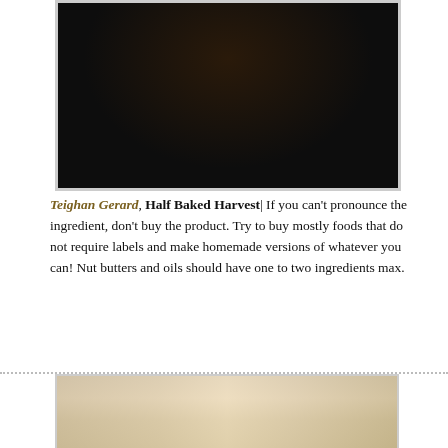[Figure (photo): Person holding a large decorated chocolate cake with macarons on top, dark background]
Teighan Gerard, Half Baked Harvest| If you can't pronounce the ingredient, don't buy the product. Try to buy mostly foods that do not require labels and make homemade versions of whatever you can! Nut butters and oils should have one to two ingredients max.
[Figure (photo): Blonde woman in kitchen wearing apron, surrounded by fresh produce and blender on shelves]